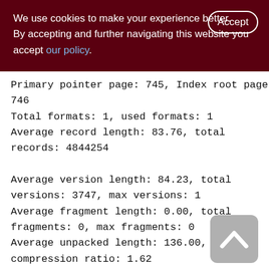We use cookies to make your experience better. By accepting and further navigating this website you accept our policy.
Primary pointer page: 745, Index root page: 746
Total formats: 1, used formats: 1
Average record length: 83.76, total records: 4844254
Average version length: 84.23, total versions: 3747, max versions: 1
Average fragment length: 0.00, total fragments: 0, max fragments: 0
Average unpacked length: 136.00, compression ratio: 1.62
Pointer pages: 46, data page slots: 74568
Data pages: 74568, average fill: 80%